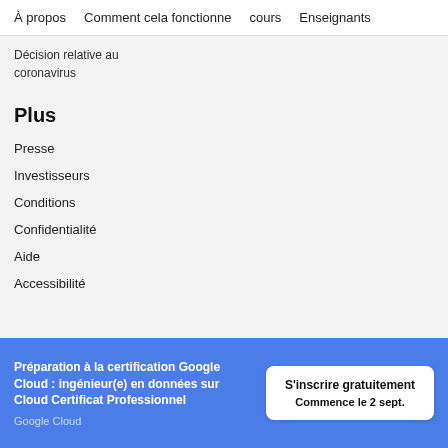À propos   Comment cela fonctionne   cours   Enseignants
Décision relative au coronavirus
Plus
Presse
Investisseurs
Conditions
Confidentialité
Aide
Accessibilité
Préparation à la certification Google Cloud : ingénieur(e) en données sur Cloud Certificat Professionnel
Google Cloud
S'inscrire gratuitement
Commence le 2 sept.